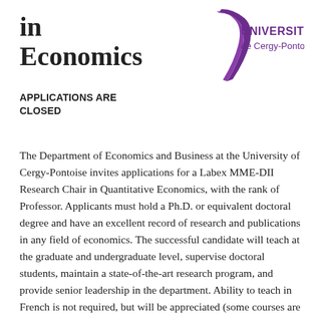in Economics
[Figure (logo): Université de Cergy-Pontoise logo with stylized purple swoosh and text]
APPLICATIONS ARE CLOSED
The Department of Economics and Business at the University of Cergy-Pontoise invites applications for a Labex MME-DII Research Chair in Quantitative Economics, with the rank of Professor. Applicants must hold a Ph.D. or equivalent doctoral degree and have an excellent record of research and publications in any field of economics. The successful candidate will teach at the graduate and undergraduate level, supervise doctoral students, maintain a state-of-the-art research program, and provide senior leadership in the department. Ability to teach in French is not required, but will be appreciated (some courses are taught in English).
For the first four years, the successful candidate will have a reduced teaching load (45 hours/year, i.e. 1.5 one-semester